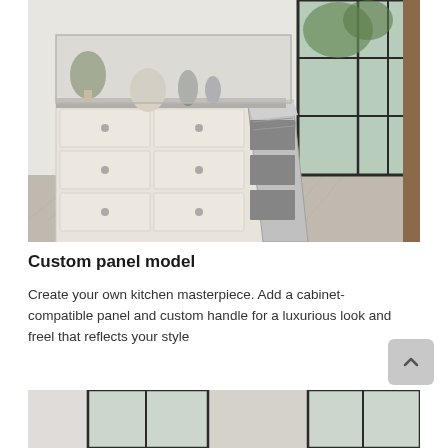[Figure (photo): A dishwasher with a custom panel open, integrated into a white cabinet dresser-style unit in a bright room with herringbone tile floor and large black-framed windows.]
Custom panel model
Create your own kitchen masterpiece. Add a cabinet-compatible panel and custom handle for a luxurious look and freel that reflects your style
[Figure (photo): Partial bottom image showing interior of a room with black-framed windows and light walls.]